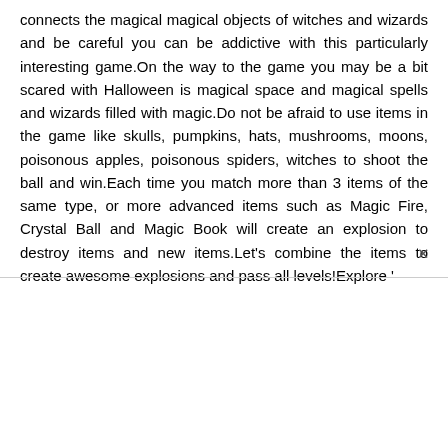connects the magical magical objects of witches and wizards and be careful you can be addictive with this particularly interesting game.On the way to the game you may be a bit scared with Halloween is magical space and magical spells and wizards filled with magic.Do not be afraid to use items in the game like skulls, pumpkins, hats, mushrooms, moons, poisonous apples, poisonous spiders, witches to shoot the ball and win.Each time you match more than 3 items of the same type, or more advanced items such as Magic Fire, Crystal Ball and Magic Book will create an explosion to destroy items and new items.Let's combine the items to create awesome explosions and pass all levels!Explore '